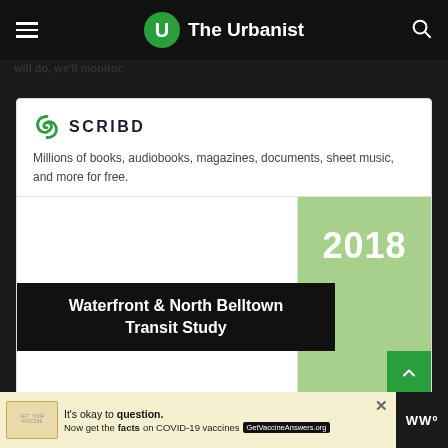The Urbanist
will do, we'll monitor.
[Figure (screenshot): Scribd embed card showing logo and tagline 'Millions of books, audiobooks, magazines, documents, sheet music, and more for free.']
Millions of books, audiobooks, magazines, documents, sheet music, and more for free.
[Figure (illustration): Document cover preview showing '2018' on green background and 'Waterfront & North Belltown Transit Study' on black banner]
2018
Waterfront & North Belltown Transit Study
It's okay to question. Now get the facts on COVID-19 vaccines GetVaccineAnswers.org